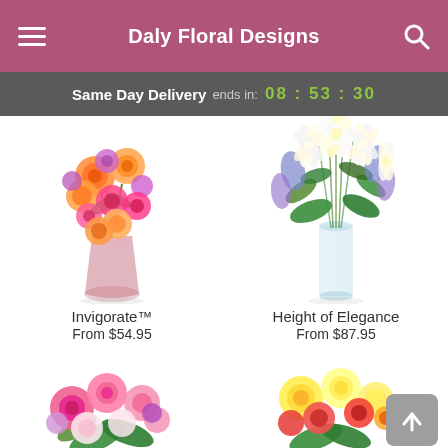Daly Floral Designs
Same Day Delivery ends in: 08 : 53 : 30
[Figure (photo): Colorful bouquet of orange roses, pink gerberas, and purple flowers in a glass vase — Invigorate™]
Invigorate™
From $54.95
[Figure (photo): White lilies and purple flowers in a tall glass vase — Height of Elegance]
Height of Elegance
From $87.95
[Figure (photo): Pink and light pink flowers bouquet — partially visible at bottom left]
[Figure (photo): Yellow and red roses bouquet — partially visible at bottom right]